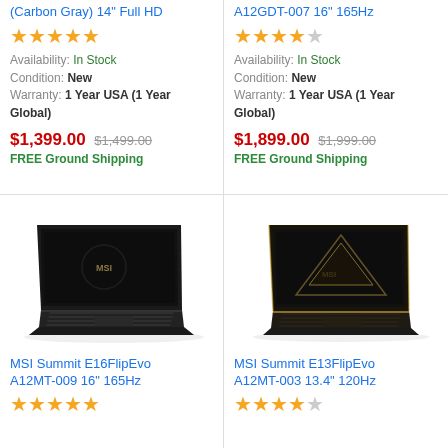(Carbon Gray) 14" Full HD
[Figure (other): 5 orange stars rating]
Availability: In Stock
Condition: New
Warranty: 1 Year USA (1 Year Global)
$1,399.00 $1,499.00
FREE Ground Shipping
A12GDT-007 16" 165Hz
[Figure (other): 4 orange stars and 1 gray star rating]
Availability: In Stock
Condition: New
Warranty: 1 Year USA (1 Year Global)
$1,899.00 $1,999.00
FREE Ground Shipping
[Figure (photo): MSI black laptop open, angled view from left side]
MSI Summit E16FlipEvo A12MT-009 16" 165Hz
[Figure (other): 5 orange stars rating (partial)]
[Figure (photo): MSI black and gold laptop open, angled view from left side]
MSI Summit E13FlipEvo A12MT-003 13.4" 120Hz
[Figure (other): 4 orange stars and partial rating]